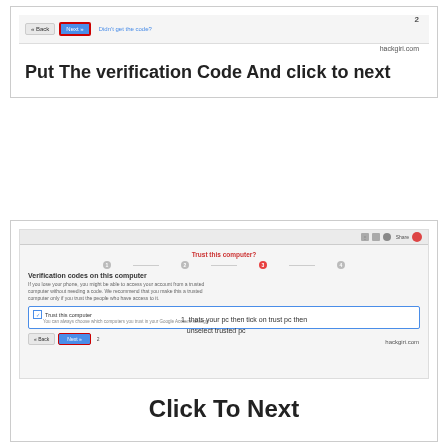[Figure (screenshot): Screenshot of Google account verification page showing Back and Next buttons, with Next button highlighted in red border, and 'Didn't get the code?' link. Step 2 indicator. hackgiri.com watermark.]
Put The verification Code And click to next
[Figure (screenshot): Screenshot of Google 'Trust this computer?' page showing step 3 active, Verification codes on this computer section, Trust this computer checkbox highlighted, Back and Next buttons with step 2 indicator. hackgiri.com watermark. Side note: thats your pc then tick on trust pc then unselect trusted pc]
Click To Next